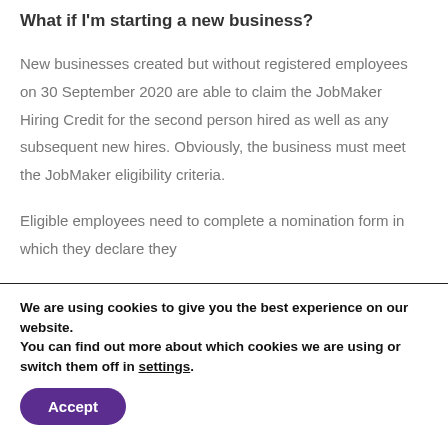What if I'm starting a new business?
New businesses created but without registered employees on 30 September 2020 are able to claim the JobMaker Hiring Credit for the second person hired as well as any subsequent new hires. Obviously, the business must meet the JobMaker eligibility criteria.
Eligible employees need to complete a nomination form in which they declare they
We are using cookies to give you the best experience on our website.
You can find out more about which cookies we are using or switch them off in settings.
Accept